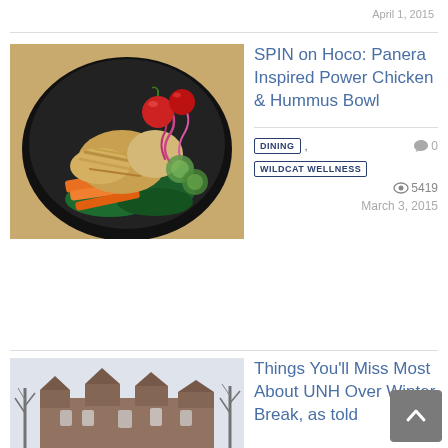April 1, 2015
[Figure (photo): A black bowl containing a salad with shredded chicken, carrots, cherry tomatoes, red onion, cucumber slices, spinach, and hummus]
SPIN on Hoco: Panera Inspired Power Chicken & Hummus Bowl
DINING , WILDCAT WELLNESS   0  5419  March 3, 2015
[Figure (photo): A university building in winter with bare trees covered in snow]
Things You'll Miss Most About UNH Over Winter Break, as told